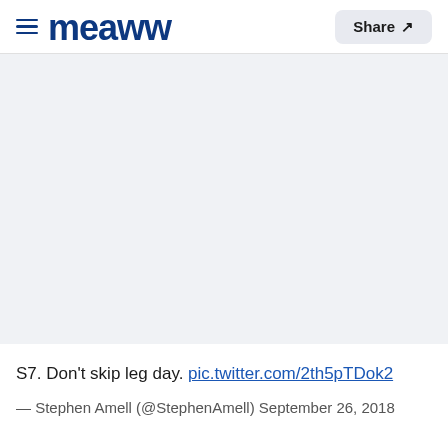meaww — Share
[Figure (other): Large grey placeholder image area]
S7. Don't skip leg day. pic.twitter.com/2th5pTDok2
— Stephen Amell (@StephenAmell) September 26, 2018